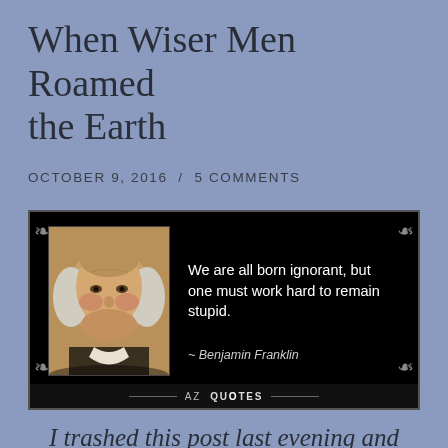When Wiser Men Roamed the Earth
OCTOBER 9, 2016  /  5 COMMENTS
[Figure (illustration): Quote image on black background with ornamental border showing a portrait of Benjamin Franklin alongside the quote: 'We are all born ignorant, but one must work hard to remain stupid. ~ Benjamin Franklin'. AZ QUOTES watermark at bottom.]
I trashed this post last evening and then I read this morning's news.  So